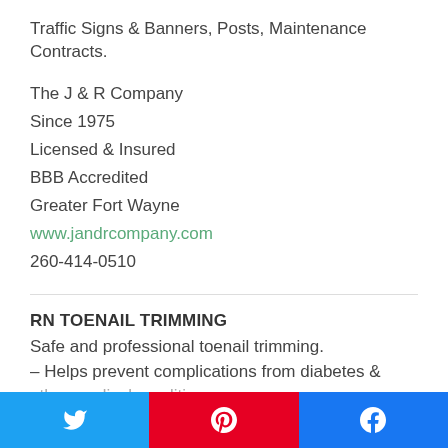Traffic Signs & Banners, Posts, Maintenance Contracts.
The J & R Company
Since 1975
Licensed & Insured
BBB Accredited
Greater Fort Wayne
www.jandrcompany.com
260-414-0510
RN TOENAIL TRIMMING
Safe and professional toenail trimming.
– Helps prevent complications from diabetes & other medical conditions